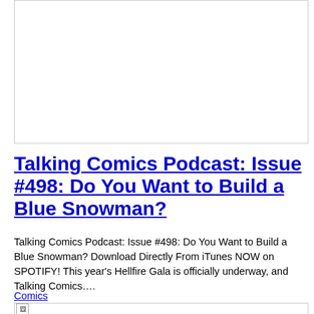[Figure (other): Blank white image placeholder with border]
Talking Comics Podcast: Issue #498: Do You Want to Build a Blue Snowman?
Talking Comics Podcast: Issue #498: Do You Want to Build a Blue Snowman? Download Directly From iTunes NOW on SPOTIFY! This year's Hellfire Gala is officially underway, and Talking Comics….
Comics
[Figure (other): Small broken image icon at bottom of page]